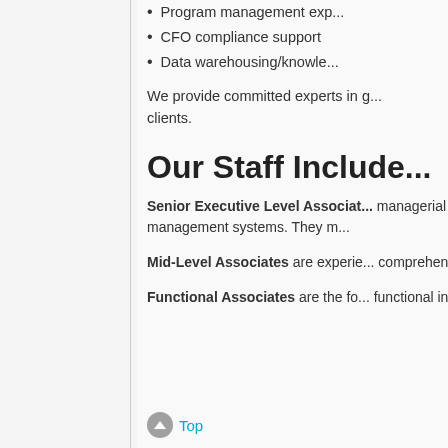Program management exp...
CFO compliance support
Data warehousing/knowle...
We provide committed experts in g... clients.
Our Staff Include...
Senior Executive Level Associat... managerial and systems issues fa... major field organizations, operatio... and management systems. They m...
Mid-Level Associates are experie... comprehensive understanding of th...
Functional Associates are the fo... functional information systems. The... various systems and system comp...
Top